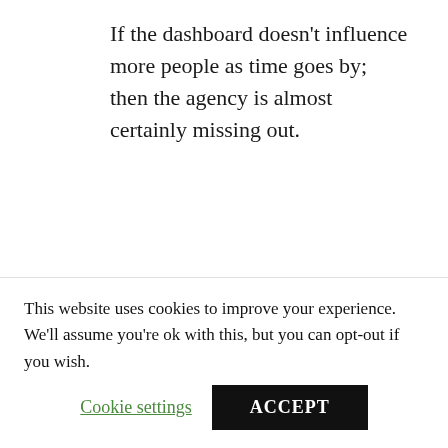If the dashboard doesn't influence more people as time goes by; then the agency is almost certainly missing out.
[Figure (illustration): Two grey 3D figurines standing side by side with arms around each other, facing away from the viewer.]
This website uses cookies to improve your experience. We'll assume you're ok with this, but you can opt-out if you wish.
Cookie settings   ACCEPT